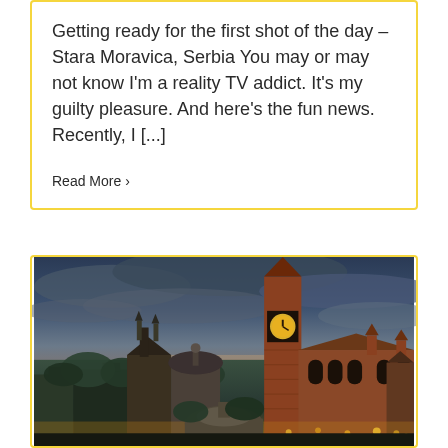Getting ready for the first shot of the day – Stara Moravica, Serbia You may or may not know I'm a reality TV addict. It's my guilty pleasure. And here's the fun news. Recently, I [...]
Read More ›
[Figure (photo): HDR cityscape photo at dusk showing a tall church/cathedral bell tower with clock face lit up in orange tones, surrounded by rooftops and trees, under a dramatic cloudy sky with glowing city lights below.]